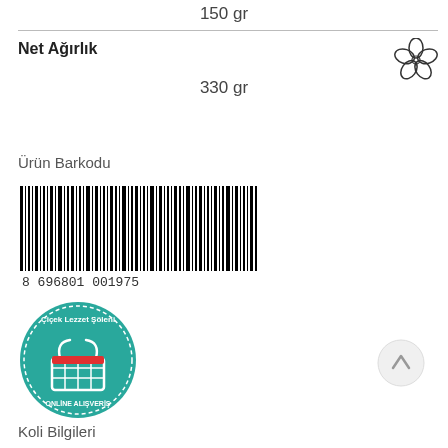150 gr
Net Ağırlık
330 gr
[Figure (illustration): Flower/clover outline icon in top right]
Ürün Barkodu
[Figure (other): Barcode with number 8 696801 001975]
[Figure (logo): Çiçek Lezzet Şöleni Online Alışveriş circular teal logo with shopping basket]
[Figure (other): Scroll up circular button with arrow]
Koli Bilgileri